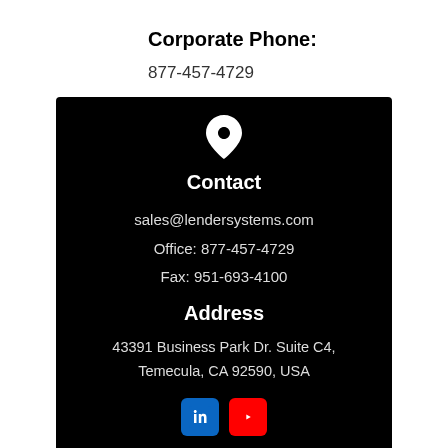Corporate Phone:
877-457-4729
[Figure (infographic): Black contact card with location pin icon, Contact section showing email sales@lendersystems.com, Office: 877-457-4729, Fax: 951-693-4100, Address section showing 43391 Business Park Dr. Suite C4, Temecula, CA 92590, USA, and LinkedIn and YouTube social icons at the bottom.]